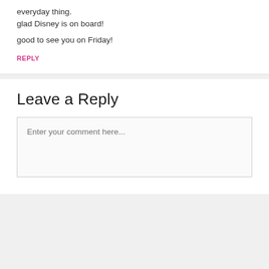everyday thing.
glad Disney is on board!
good to see you on Friday!
REPLY
Leave a Reply
Enter your comment here...